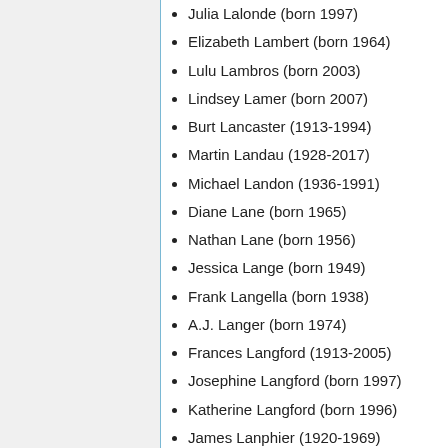Julia Lalonde (born 1997)
Elizabeth Lambert (born 1964)
Lulu Lambros (born 2003)
Lindsey Lamer (born 2007)
Burt Lancaster (1913-1994)
Martin Landau (1928-2017)
Michael Landon (1936-1991)
Diane Lane (born 1965)
Nathan Lane (born 1956)
Jessica Lange (born 1949)
Frank Langella (born 1938)
A.J. Langer (born 1974)
Frances Langford (1913-2005)
Josephine Langford (born 1997)
Katherine Langford (born 1996)
James Lanphier (1920-1969)
John Larroquette (born 1947)
Brie Larson (born 1989)
Lash La Rue (1917-1996)